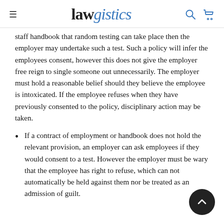lawgistics
staff handbook that random testing can take place then the employer may undertake such a test. Such a policy will infer the employees consent, however this does not give the employer free reign to single someone out unnecessarily. The employer must hold a reasonable belief should they believe the employee is intoxicated. If the employee refuses when they have previously consented to the policy, disciplinary action may be taken.
If a contract of employment or handbook does not hold the relevant provision, an employer can ask employees if they would consent to a test. However the employer must be wary that the employee has right to refuse, which can not automatically be held against them nor be treated as an admission of guilt.